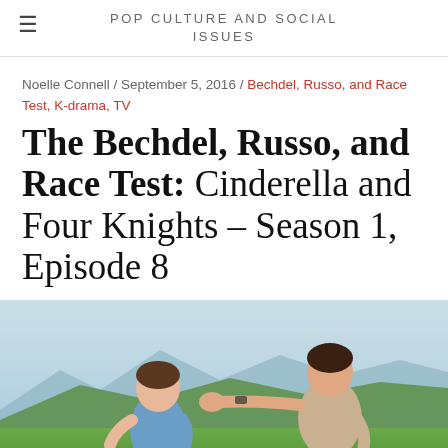POP CULTURE AND SOCIAL ISSUES
Noelle Connell / September 5, 2016 / Bechdel, Russo, and Race Test, K-drama, TV
The Bechdel, Russo, and Race Test: Cinderella and Four Knights – Season 1, Episode 8
[Figure (photo): Two young men outdoors with mountains in background. One reaches out toward the other with a fist. Sky and green hills visible behind them.]